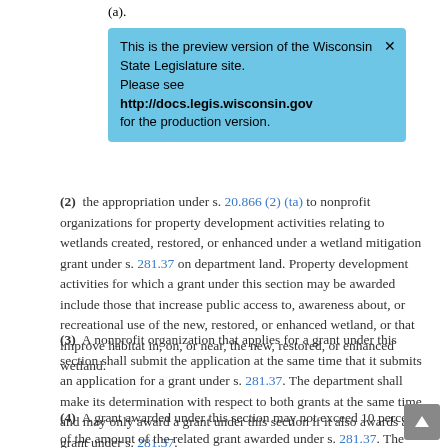(a).
[Figure (screenshot): Blue notification banner: 'This is the preview version of the Wisconsin State Legislature site. Please see http://docs.legis.wisconsin.gov for the production version.' with an X close button.]
(2) the appropriation under s. 20.866 (2) (ta) to nonprofit organizations for property development activities relating to wetlands created, restored, or enhanced under a wetland mitigation grant under s. 281.37 on department land. Property development activities for which a grant under this section may be awarded include those that increase public access to, awareness about, or recreational use of the new, restored, or enhanced wetland, or that improve habitat in, on, or near, the new, restored, or enhanced wetland.
(3) A nonprofit organization that applies for a grant under this section shall submit the application at the same time that it submits an application for a grant under s. 281.37. The department shall make its determination with respect to both grants at the same time, and may only award a grant under this section if it also awards a grant under s. 281.37.
(4) A grant awarded under this section may not exceed 10 percent of the amount of the related grant awarded under s. 281.37. The department may not issue the grant funding under this section to the grantee until the grantee has certified that th